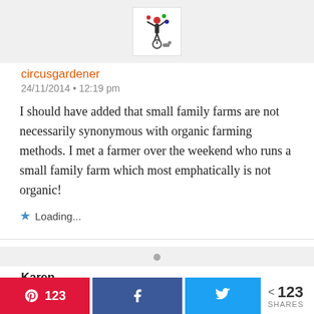[Figure (illustration): Circus juggler avatar logo in a white box on grey background]
circusgardener
24/11/2014 • 12:19 pm
I should have added that small family farms are not necessarily synonymous with organic farming methods. I met a farmer over the weekend who runs a small family farm which most emphatically is not organic!
Loading...
[Figure (illustration): Small grey dot avatar placeholder]
Karen
26/11/2014 • 9:11 pm
123
123 SHARES